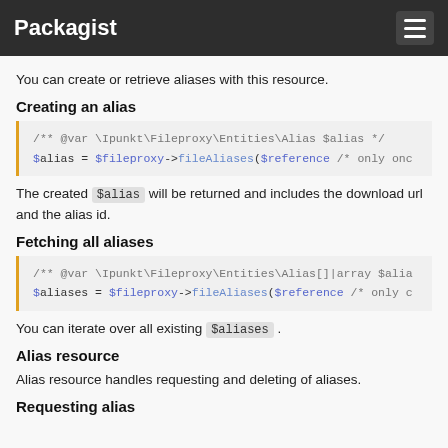Packagist
You can create or retrieve aliases with this resource.
Creating an alias
[Figure (screenshot): Code block: /** @var \Ipunkt\Fileproxy\Entities\Alias $alias */ $alias = $fileproxy->fileAliases($reference /* only onc]
The created $alias will be returned and includes the download url and the alias id.
Fetching all aliases
[Figure (screenshot): Code block: /** @var \Ipunkt\Fileproxy\Entities\Alias[]|array $alia $aliases = $fileproxy->fileAliases($reference /* only c]
You can iterate over all existing $aliases .
Alias resource
Alias resource handles requesting and deleting of aliases.
Requesting alias